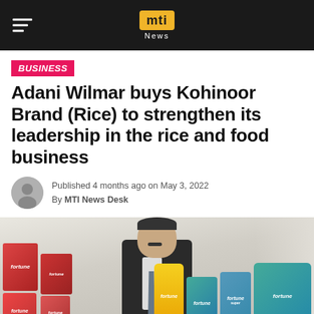mti News
BUSINESS
Adani Wilmar buys Kohinoor Brand (Rice) to strengthen its leadership in the rice and food business
Published 4 months ago on May 3, 2022
By MTI News Desk
[Figure (photo): Man in business suit sitting at a desk surrounded by Fortune brand food products including rice and oil packages]